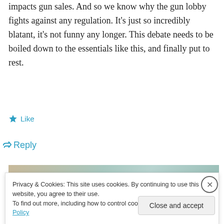impacts gun sales. And so we know why the gun lobby fights against any regulation. It's just so incredibly blatant, it's not funny any longer. This debate needs to be boiled down to the essentials like this, and finally put to rest.
Like
Reply
[Figure (screenshot): WordPress VIP advertisement banner with 'Learn more' button]
Privacy & Cookies: This site uses cookies. By continuing to use this website, you agree to their use.
To find out more, including how to control cookies, see here: Cookie Policy
Close and accept